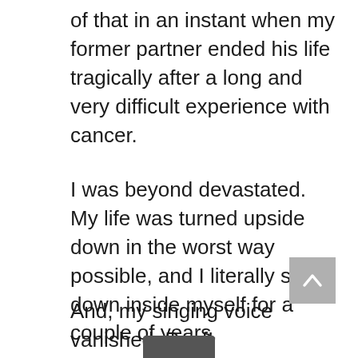of that in an instant when my former partner ended his life tragically after a long and very difficult experience with cancer.
I was beyond devastated. My life was turned upside down in the worst way possible, and I literally shut down inside myself for a couple of years.
And, my singing voice vanished. Poof!